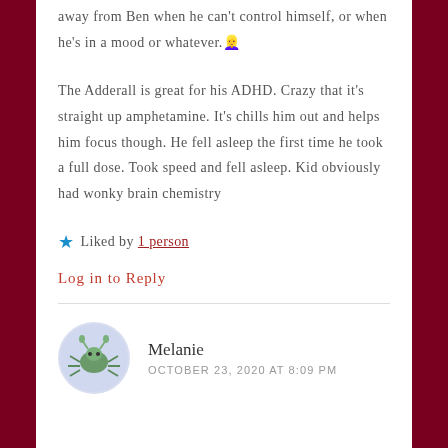away from Ben when he can't control himself, or when he's in a mood or whatever. 🧝
The Adderall is great for his ADHD. Crazy that it's straight up amphetamine. It's chills him out and helps him focus though. He fell asleep the first time he took a full dose. Took speed and fell asleep. Kid obviously had wonky brain chemistry
★ Liked by 1 person
Log in to Reply
Melanie
OCTOBER 23, 2020 AT 8:09 PM